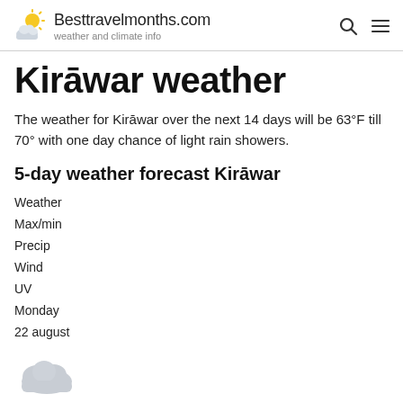Besttravelmonths.com — weather and climate info
Kirāwar weather
The weather for Kirāwar over the next 14 days will be 63°F till 70° with one day chance of light rain showers.
5-day weather forecast Kirāwar
Weather
Max/min
Precip
Wind
UV
Monday
22 august
[Figure (illustration): Cloud weather icon (grey cloud shape)]